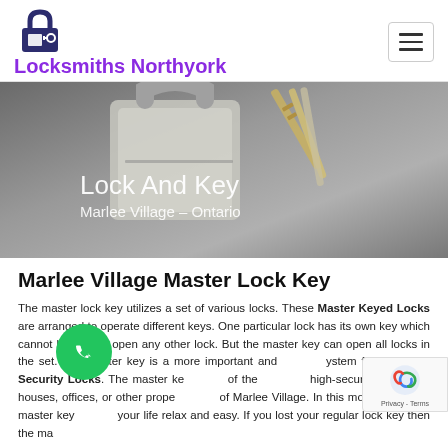Locksmiths Northyork
[Figure (photo): Photo of a silver padlock with multiple keys, overlaid with text 'Lock And Key' and 'Marlee Village – Ontario']
Marlee Village Master Lock Key
The master lock key utilizes a set of various locks. These Master Keyed Locks are arranged to operate different keys. One particular lock has its own key which cannot be able to open any other lock. But the master key can open all locks in the set. The master key is a more important and system for the High-Security Locks. The master key is top of the high-security system of houses, offices, or other properties of Marlee Village. In this modern era, the master key your life relax and easy. If you lost your regular lock key then the master